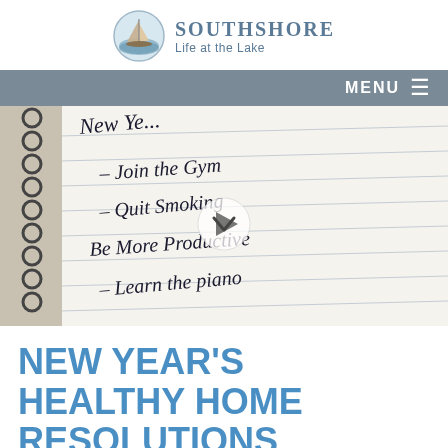SOUTHSHORE Life at the Lake
[Figure (screenshot): Navigation bar with MENU and hamburger icon on gray background]
[Figure (photo): A spiral notebook with handwritten New Year's resolutions: Join the Gym, Quit Smoking, Be More Productive, Learn the piano. A play button icon overlays the center.]
NEW YEAR'S HEALTHY HOME RESOLUTIONS